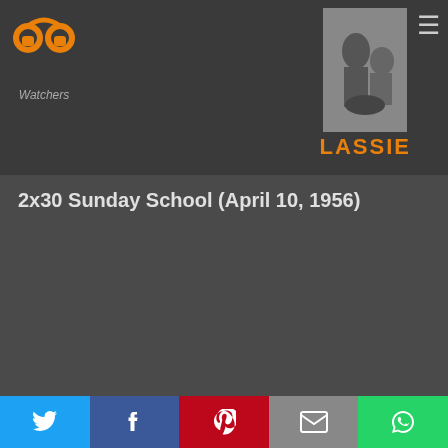PP Watchers — LASSIE
2x30 Sunday School (April 10, 1956)
Jeff, in charge of collecting money for Sunday School, loses the contributions and has no way of replacing them.
[Figure (screenshot): Blurry teal/blue screenshot from the Lassie episode]
Twitter | Facebook | Pinterest | Email | WhatsApp share buttons